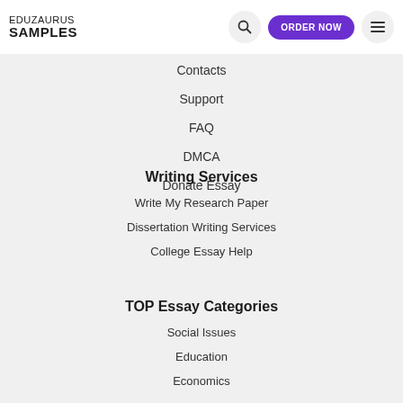EDUZAURUS SAMPLES
Contacts
Support
FAQ
DMCA
Donate Essay
Writing Services
Write My Research Paper
Dissertation Writing Services
College Essay Help
TOP Essay Categories
Social Issues
Education
Economics